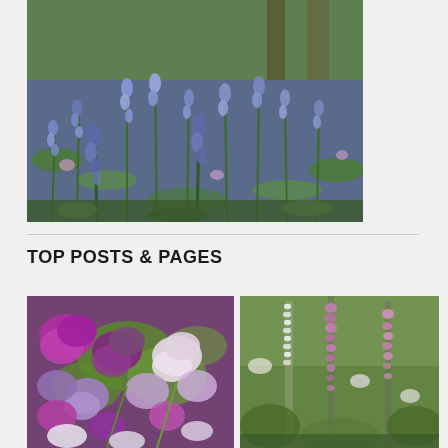[Figure (photo): Field of purple-blue bluebell flowers with green foliage in a woodland setting]
TOP POSTS & PAGES
[Figure (photo): Close-up of purple, magenta and white sweet pea flowers with green leaves]
[Figure (photo): Tall foxglove flower spikes with pink and white blooms in a garden setting]